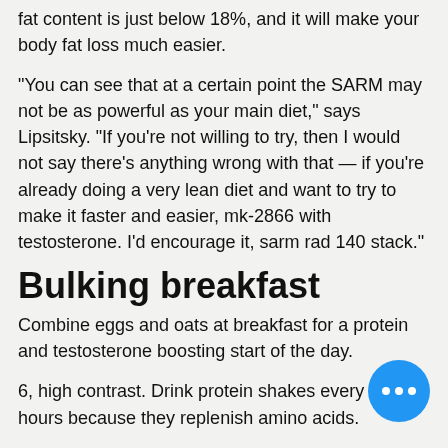fat content is just below 18%, and it will make your body fat loss much easier.
"You can see that at a certain point the SARM may not be as powerful as your main diet," says Lipsitsky. "If you're not willing to try, then I would not say there's anything wrong with that — if you're already doing a very lean diet and want to try to make it faster and easier, mk-2866 with testosterone. I'd encourage it, sarm rad 140 stack."
Bulking breakfast
Combine eggs and oats at breakfast for a protein and testosterone boosting start of the day.
6, high contrast. Drink protein shakes every 3-4 hours because they replenish amino acids.
7, high contrast. Choose water because